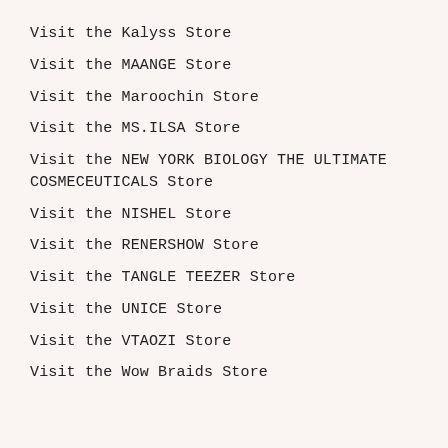Visit the Kalyss Store
Visit the MAANGE Store
Visit the Maroochin Store
Visit the MS.ILSA Store
Visit the NEW YORK BIOLOGY THE ULTIMATE COSMECEUTICALS Store
Visit the NISHEL Store
Visit the RENERSHOW Store
Visit the TANGLE TEEZER Store
Visit the UNICE Store
Visit the VTAOZI Store
Visit the Wow Braids Store